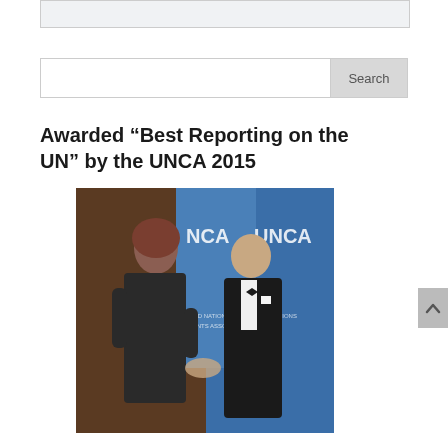[Figure (other): Top decorative box / header area element - light gray rectangle]
[Figure (other): Search bar with input field and Search button]
Awarded “Best Reporting on the UN” by the UNCA 2015
[Figure (photo): A woman in a black dress shaking hands with a man in a tuxedo at an UNCA (United Nations Correspondents Association) event, with UNCA banners in the background.]